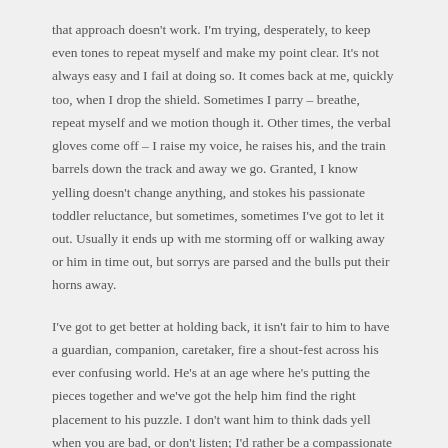that approach doesn't work. I'm trying, desperately, to keep even tones to repeat myself and make my point clear. It's not always easy and I fail at doing so. It comes back at me, quickly too, when I drop the shield. Sometimes I parry – breathe, repeat myself and we motion though it. Other times, the verbal gloves come off – I raise my voice, he raises his, and the train barrels down the track and away we go. Granted, I know yelling doesn't change anything, and stokes his passionate toddler reluctance, but sometimes, sometimes I've got to let it out. Usually it ends up with me storming off or walking away or him in time out, but sorrys are parsed and the bulls put their horns away.
I've got to get better at holding back, it isn't fair to him to have a guardian, companion, caretaker, fire a shout-fest across his ever confusing world. He's at an age where he's putting the pieces together and we've got the help him find the right placement to his puzzle. I don't want him to think dads yell when you are bad, or don't listen; I'd rather be a compassionate understanding, stoic example. I'm the adult, I'm the example.